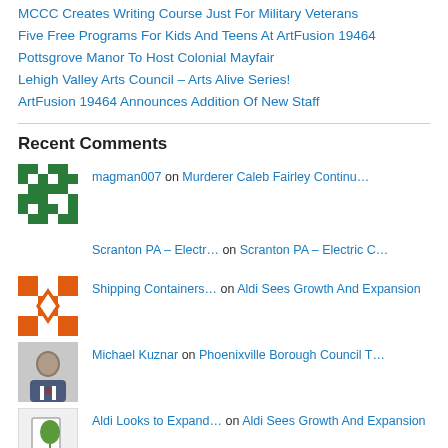MCCC Creates Writing Course Just For Military Veterans
Five Free Programs For Kids And Teens At ArtFusion 19464
Pottsgrove Manor To Host Colonial Mayfair
Lehigh Valley Arts Council – Arts Alive Series!
ArtFusion 19464 Announces Addition Of New Staff
Recent Comments
magman007 on Murderer Caleb Fairley Continu…
Scranton PA – Electr… on Scranton PA – Electric C…
Shipping Containers… on Aldi Sees Growth And Expansion
Michael Kuznar on Phoenixville Borough Council T…
Aldi Looks to Expand… on Aldi Sees Growth And Expansion